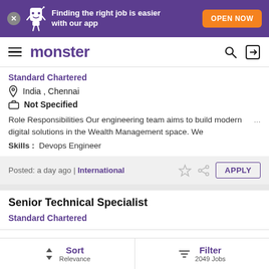[Figure (screenshot): Monster job board mobile app banner with purple background, mascot character, text 'Finding the right job is easier with our app' and orange 'OPEN NOW' button]
monster
Standard Chartered
India , Chennai
Not Specified
Role Responsibilities Our engineering team aims to build modern digital solutions in the Wealth Management space. We ...
Skills :  Devops Engineer
Posted: a day ago |  International
Senior Technical Specialist
Standard Chartered
Sort Relevance | Filter 2049 Jobs